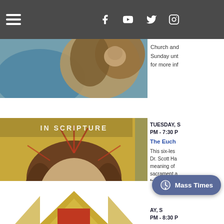Navigation bar with hamburger menu, Facebook, YouTube, Twitter, Instagram icons
[Figure (photo): Partial religious artwork image showing figures with gold and blue tones]
Church and Sunday until for more inf
[Figure (photo): Religious painting of Jesus Christ with halo rays, brown hair and beard, on gold background. Text overlay reads 'IN SCRIPTURE']
TUESDAY, S PM - 7:30 P
The Euch
This six-les Dr. Scott Ha meaning of sacrament a from Gene
[Figure (logo): Partial church logo with geometric shapes in red and gold at bottom of page]
AY, S PM - 8:30 P